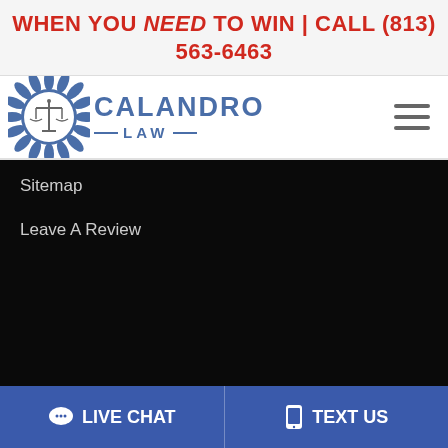WHEN YOU NEED TO WIN | CALL (813) 563-6463
[Figure (logo): Calandro Law logo with scales of justice emblem and blue badge/sunburst design]
Sitemap
Leave A Review
LIVE CHAT   TEXT US